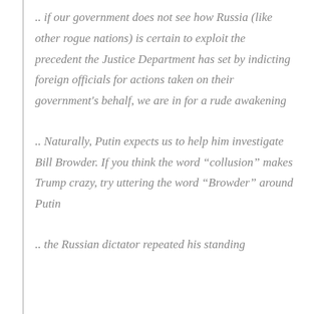.. if our government does not see how Russia (like other rogue nations) is certain to exploit the precedent the Justice Department has set by indicting foreign officials for actions taken on their government's behalf, we are in for a rude awakening
.. Naturally, Putin expects us to help him investigate Bill Browder. If you think the word “collusion” makes Trump crazy, try uttering the word “Browder” around Putin
.. the Russian dictator repeated his standing